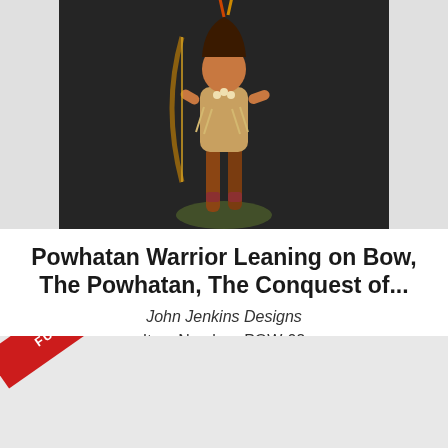[Figure (photo): Photo of a painted figurine of a Powhatan Warrior leaning on a bow, displayed against a dark background.]
Powhatan Warrior Leaning on Bow, The Powhatan, The Conquest of...
John Jenkins Designs
Item Number: POW-02
$49.00
DETAILS
BUY
[Figure (photo): Bottom portion of another product card with a red diagonal ribbon banner reading 'FUTURE RELEASE'.]